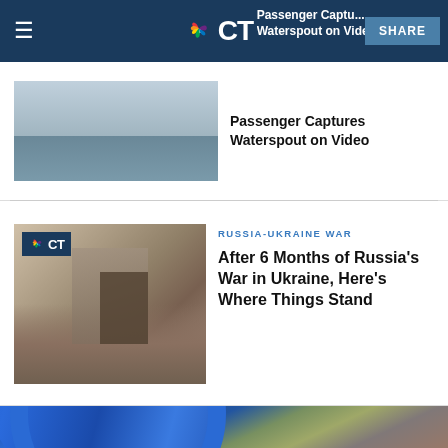NBC CT
[Figure (photo): Partially visible news article with water/ocean photo and headline about passenger capturing waterspout on video]
Passenger Captures Waterspout on Video
[Figure (photo): War-damaged building with rubble, woman visible in doorway, NBC CT logo overlay]
RUSSIA-UKRAINE WAR
After 6 Months of Russia's War in Ukraine, Here's Where Things Stand
[Figure (photo): Close-up of a blue corrugated flexible hose/duct against a stone wall with plants]